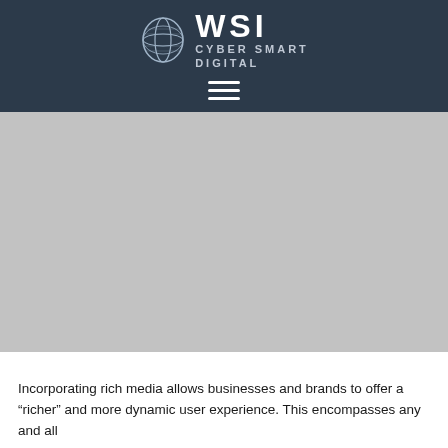[Figure (logo): WSI Cyber Smart Digital logo: globe icon on left, 'WSI' in large white letters, 'CYBER SMART DIGITAL' in smaller white letters stacked to the right, on dark navy background]
[Figure (other): Hamburger menu icon (three horizontal white lines) centered below logo on dark navy header]
[Figure (other): Large gray placeholder image area occupying most of the page body]
Incorporating rich media allows businesses and brands to offer a “richer” and more dynamic user experience. This encompasses any and all